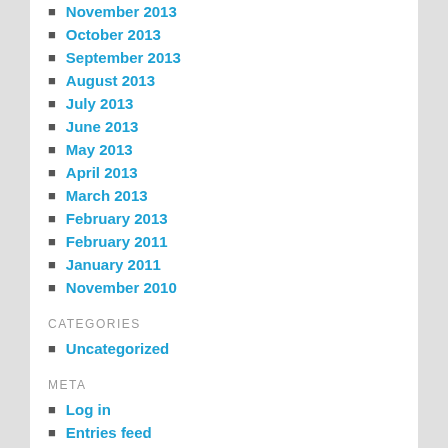November 2013
October 2013
September 2013
August 2013
July 2013
June 2013
May 2013
April 2013
March 2013
February 2013
February 2011
January 2011
November 2010
CATEGORIES
Uncategorized
META
Log in
Entries feed
Comments feed